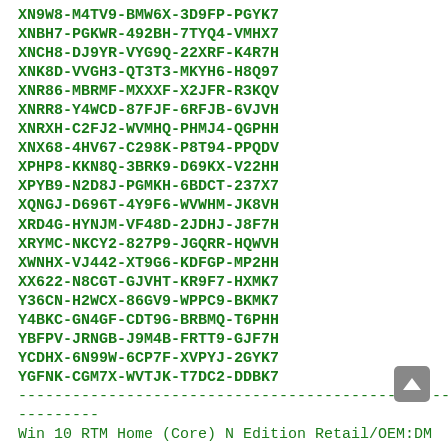XN9W8-M4TV9-BMW6X-3D9FP-PGYK7
XNBH7-PGKWR-492BH-7TYQ4-VMHX7
XNCH8-DJ9YR-VYG9Q-22XRF-K4R7H
XNK8D-VVGH3-QT3T3-MKYH6-H8Q97
XNR86-MBRMF-MXXXF-X2JFR-R3KQV
XNRR8-Y4WCD-87FJF-6RFJB-6VJVH
XNRXH-C2FJ2-WVMHQ-PHMJ4-QGPHH
XNX68-4HV67-C298K-P8T94-PPQDV
XPHP8-KKN8Q-3BRK9-D69KX-V22HH
XPYB9-N2D8J-PGMKH-6BDCT-237X7
XQNGJ-D696T-4Y9F6-WVWHM-JK8VH
XRD4G-HYNJM-VF48D-2JDHJ-J8F7H
XRYMC-NKCY2-827P9-JGQRR-HQWVH
XWNHX-VJ442-XT9G6-KDFGP-MP2HH
XX622-N8CGT-GJVHT-KR9F7-HXMK7
Y36CN-H2WCX-86GV9-WPPC9-BKMK7
Y4BKC-GN4GF-CDT9G-BRBMQ-T6PHH
YBFPV-JRNGB-J9M4B-FRTT9-GJF7H
YCDHX-6N99W-6CP7F-XVPYJ-2GYK7
YGFNK-CGM7X-WVTJK-T7DC2-DDBK7
------------------------------------------------------------------------
Win 10 RTM Home (Core) N Edition Retail/OEM:DM